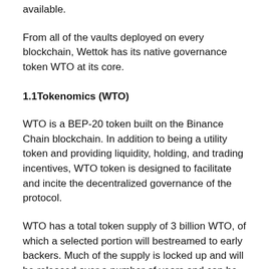available.
From all of the vaults deployed on every blockchain, Wettok has its native governance token WTO at its core.
1.1Tokenomics (WTO)
WTO is a BEP-20 token built on the Binance Chain blockchain. In addition to being a utility token and providing liquidity, holding, and trading incentives, WTO token is designed to facilitate and incite the decentralized governance of the protocol.
WTO has a total token supply of 3 billion WTO, of which a selected portion will bestreamed to early backers. Much of the supply is locked up and will be released over a number of years and can be earned by providing liquidity to Wettok native pool over a number of years and can be earned by providing liquidity to Wettok native pools